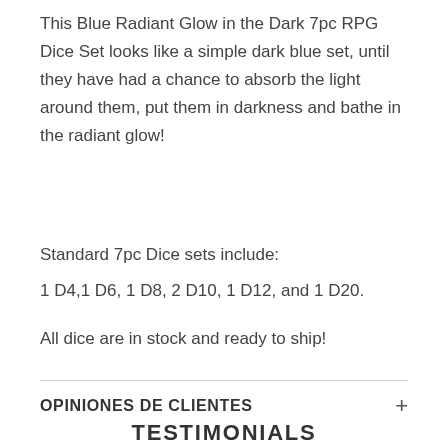This Blue Radiant Glow in the Dark 7pc RPG Dice Set looks like a simple dark blue set, until they have had a chance to absorb the light around them, put them in darkness and bathe in the radiant glow!
Standard 7pc Dice sets include:
1 D4,1 D6, 1 D8, 2 D10, 1 D12, and 1 D20.
All dice are in stock and ready to ship!
OPINIONES DE CLIENTES
TESTIMONIALS